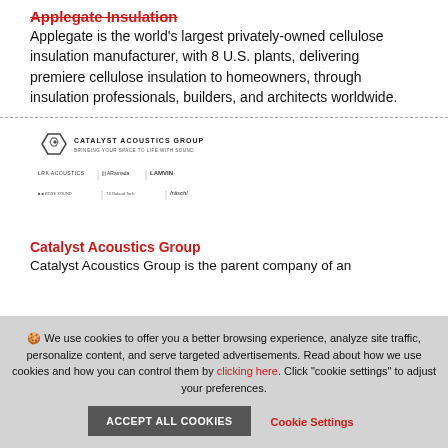Applegate Insulation
Applegate is the world's largest privately-owned cellulose insulation manufacturer, with 8 U.S. plants, delivering premiere cellulose insulation to homeowners, through insulation professionals, builders, and architects worldwide.
[Figure (logo): Catalyst Acoustics Group logo with partner brand logos including LRK Acoustics, ARamada, LAMVIN, and Fraschl]
Catalyst Acoustics Group
Catalyst Acoustics Group is the parent company of an ... portfolio of ... today.
🍪 We use cookies to offer you a better browsing experience, analyze site traffic, personalize content, and serve targeted advertisements. Read about how we use cookies and how you can control them by clicking here. Click "cookie settings" to adjust your preferences.